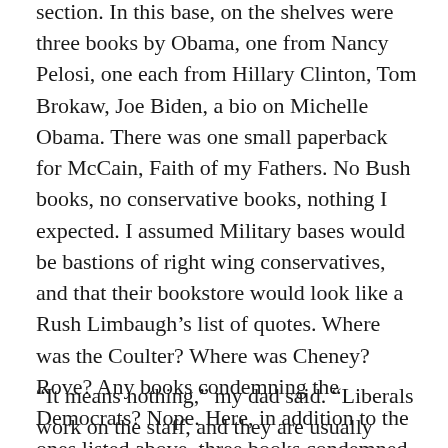section.  In this base, on the shelves were three books by Obama, one from Nancy Pelosi, one each from Hillary Clinton, Tom Brokaw, Joe Biden, a bio on Michelle Obama.  There was one small paperback for McCain, Faith of my Fathers.  No Bush books, no conservative books, nothing I expected.  I assumed Military bases would be bastions of right wing conservatives, and that their bookstore would look like a Rush Limbaugh’s list of quotes.  Where was the Coulter?  Where was Cheney?  Rove?  Any books condemning the Democrats?  Nope.  Here, in addition to the ones listed above, three books condemned the war in Iraq; one condemned a too powerful presidency.  I was amazed.  What does this mean?
“It means nothing,” my dad said.  “Liberals work on the staff, and they are usually civilian.  The military is